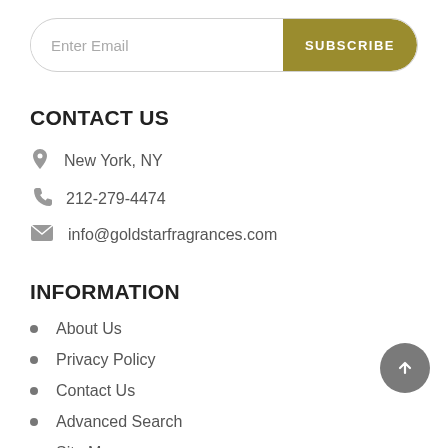Enter Email | SUBSCRIBE
CONTACT US
New York, NY
212-279-4474
info@goldstarfragrances.com
INFORMATION
About Us
Privacy Policy
Contact Us
Advanced Search
Site Map